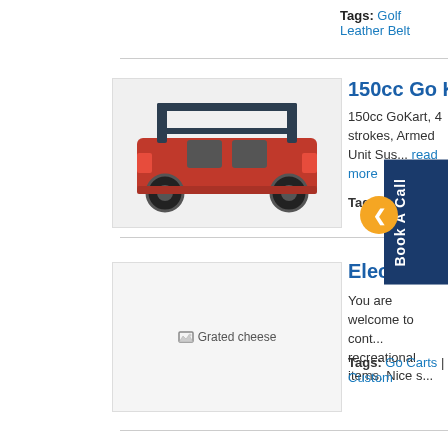Tags: Golf Leather Belt
[Figure (photo): 150cc Go Kart product photo showing a red go kart with roll cage]
150cc Go Kart
150cc GoKart, 4 strokes, Armed Unit Suspension... read more
Tags: Go Karts |
[Figure (photo): Electric Golf Cycle product image placeholder - Grated cheese placeholder image]
Electric Golf Cycle
You are welcome to contact us for recreational items. Nice s...
Tags: Go Carts | Custom